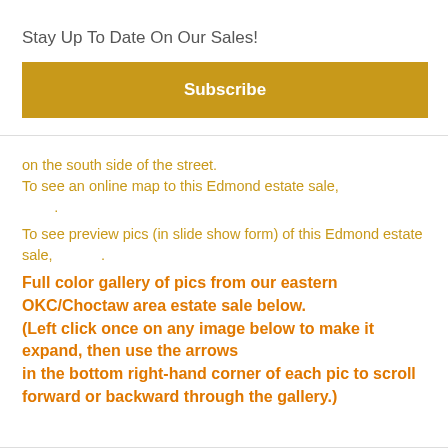Stay Up To Date On Our Sales!
Subscribe
on the south side of the street.
To see an online map to this Edmond estate sale,
.
To see preview pics (in slide show form) of this Edmond estate sale,
.
Full color gallery of pics from our eastern OKC/Choctaw area estate sale below.
(Left click once on any image below to make it expand, then use the arrows
in the bottom right-hand corner of each pic to scroll forward or backward through the gallery.)